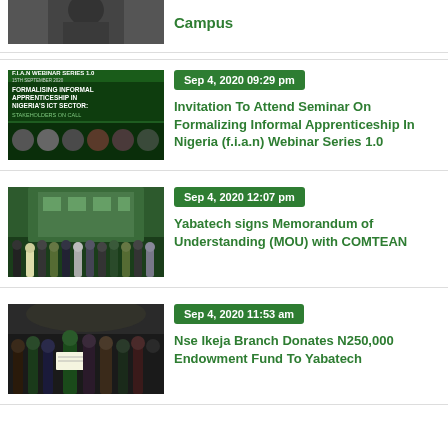[Figure (photo): Partial view of a person at a desk or podium, cropped at top]
Campus
[Figure (photo): Green poster for FIAN Webinar - Formalising Informal Apprenticeship in Nigeria's ICT Sector, Stakeholders on Call, with panel of speakers]
Sep 4, 2020 09:29 pm
Invitation To Attend Seminar On Formalizing Informal Apprenticeship In Nigeria (f.i.a.n) Webinar Series 1.0
[Figure (photo): Group photo of people standing in front of a building, outdoor setting]
Sep 4, 2020 12:07 pm
Yabatech signs Memorandum of Understanding (MOU) with COMTEAN
[Figure (photo): Group of people indoors at a formal ceremony, some in traditional attire]
Sep 4, 2020 11:53 am
Nse Ikeja Branch Donates N250,000 Endowment Fund To Yabatech